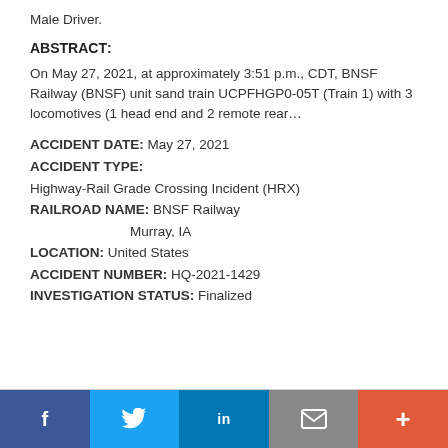Male Driver.
ABSTRACT:
On May 27, 2021, at approximately 3:51 p.m., CDT, BNSF Railway (BNSF) unit sand train UCPFHGP0-05T (Train 1) with 3 locomotives (1 head end and 2 remote rear…
ACCIDENT DATE: May 27, 2021
ACCIDENT TYPE:
Highway-Rail Grade Crossing Incident (HRX)
RAILROAD NAME: BNSF Railway
Murray, IA
LOCATION: United States
ACCIDENT NUMBER: HQ-2021-1429
INVESTIGATION STATUS: Finalized
f  Twitter  in  Email  +